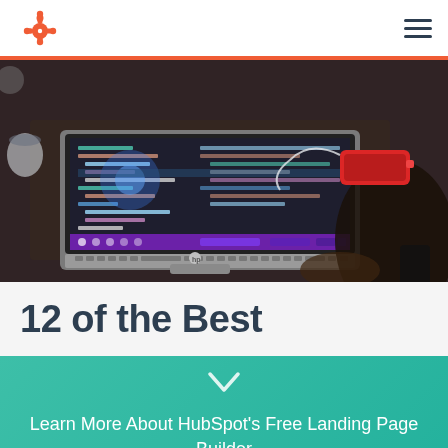[Figure (logo): HubSpot sprocket logo in orange/coral color, top left navigation]
[Figure (photo): Person using HP laptop with code editor on screen, dark background, red phone and earbuds visible on desk]
12 of the Best
Learn More About HubSpot's Free Landing Page Builder
Get it now